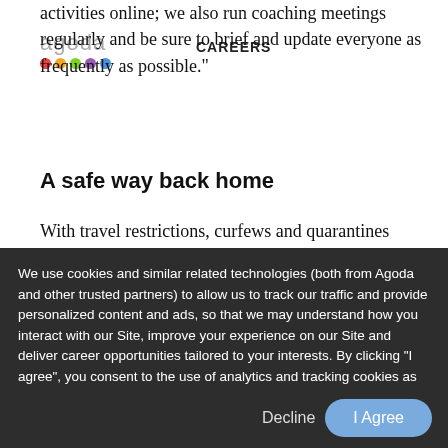agoda | CAREERS
activities online; we also run coaching meetings regularly and be sure to brief and update everyone as frequently as possible.”
A safe way back home
With travel restrictions, curfews and quarantines imposed for over a year now, one of the most challenging consequences of the
We use cookies and similar related technologies (both from Agoda and other trusted partners) to allow us to track our traffic and provide personalized content and ads, so that we may understand how you interact with our Site, improve your experience on our Site and deliver career opportunities tailored to your interests. By clicking “I agree”, you consent to the use of analytics and tracking cookies as described in our Cookies Policy.